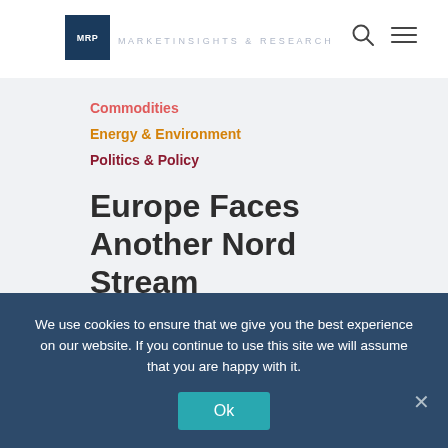MRP
Commodities
Energy & Environment
Politics & Policy
Europe Faces Another Nord Stream Shutdown, Record Gas and Power Prices
We use cookies to ensure that we give you the best experience on our website. If you continue to use this site we will assume that you are happy with it.